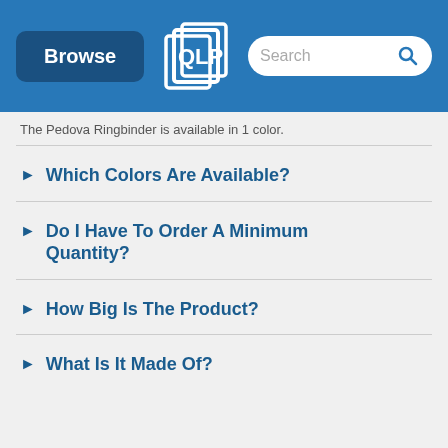Browse | [Logo] | Search
The Pedova Ringbinder is available in 1 color.
Which Colors Are Available?
Do I Have To Order A Minimum Quantity?
How Big Is The Product?
What Is It Made Of?